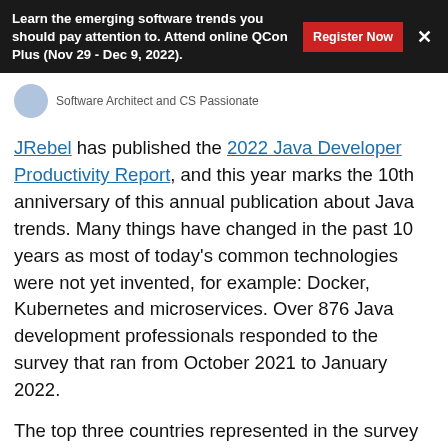Learn the emerging software trends you should pay attention to. Attend online QCon Plus (Nov 29 - Dec 9, 2022).
Software Architect and CS Passionate
JRebel has published the 2022 Java Developer Productivity Report, and this year marks the 10th anniversary of this annual publication about Java trends. Many things have changed in the past 10 years as most of today’s common technologies were not yet invented, for example: Docker, Kubernetes and microservices. Over 876 Java development professionals responded to the survey that ran from October 2021 to January 2022.
The top three countries represented in the survey by location of the respondents’ company headquarters are located in the United States, China